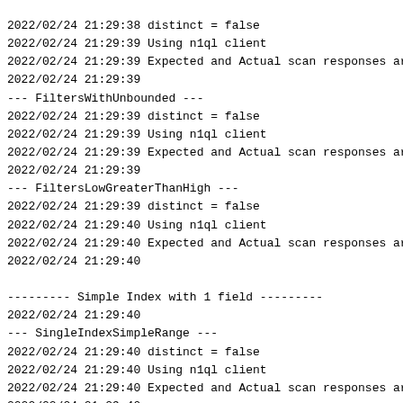2022/02/24 21:29:38 distinct = false
2022/02/24 21:29:39 Using n1ql client
2022/02/24 21:29:39 Expected and Actual scan responses ar
2022/02/24 21:29:39
--- FiltersWithUnbounded ---
2022/02/24 21:29:39 distinct = false
2022/02/24 21:29:39 Using n1ql client
2022/02/24 21:29:39 Expected and Actual scan responses ar
2022/02/24 21:29:39
--- FiltersLowGreaterThanHigh ---
2022/02/24 21:29:39 distinct = false
2022/02/24 21:29:40 Using n1ql client
2022/02/24 21:29:40 Expected and Actual scan responses ar
2022/02/24 21:29:40

--------- Simple Index with 1 field ---------
2022/02/24 21:29:40
--- SingleIndexSimpleRange ---
2022/02/24 21:29:40 distinct = false
2022/02/24 21:29:40 Using n1ql client
2022/02/24 21:29:40 Expected and Actual scan responses ar
2022/02/24 21:29:40
--- SingleIndex_SimpleRanges_NonOverlapping ---
2022/02/24 21:29:40 distinct = false
2022/02/24 21:29:41 Using n1ql client
2022/02/24 21:29:41 Expected and Actual scan responses ar
2022/02/24 21:29:41
--- SingleIndex_SimpleRanges_Overlapping ---
2022/02/24 21:29:41 distinct = false
2022/02/24 21:29:41 Using n1ql client